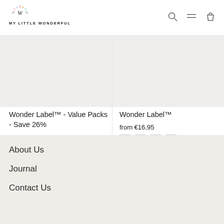MY LITTLE WONDERFUL
[Figure (illustration): Product image placeholder for Wonder Label Value Packs]
Wonder Label™ - Value Packs - Save 26%
€24,95
[Figure (illustration): Color swatches: light blue, light pink, light yellow, light green]
[Figure (illustration): Product image placeholder for Wonder Label]
Wonder Label™
from €16,95
[Figure (illustration): Color swatches: white, coral/red, dark navy, light pink]
About Us
Journal
Contact Us